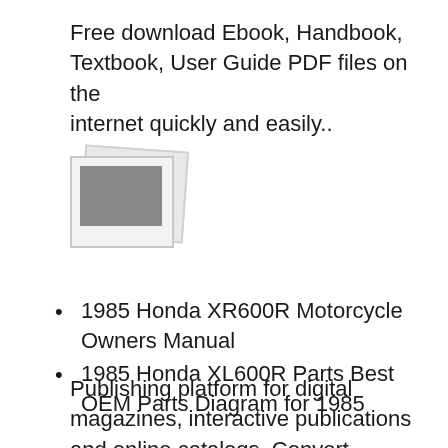Free download Ebook, Handbook, Textbook, User Guide PDF files on the internet quickly and easily..
[Figure (illustration): Two overlapping polaroid-style photo placeholders, one slightly rotated behind the other, with a grey image area inside]
1985 Honda XR600R Motorcycle Owners Manual
1985 Honda XL600R Parts Best OEM Parts Diagram for 1985
Publishing platform for digital magazines, interactive publications and online catalogs. Convert documents to beautiful publications and share them